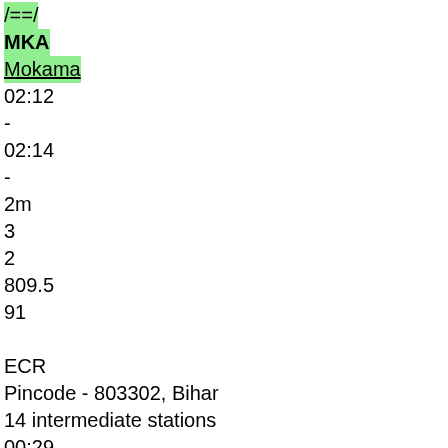/==/
MKA
Mokama
02:12
-
02:14
-
2m
3
2
809.5
91
ECR
Pincode - 803302, Bihar
14 intermediate stations
00:29
43.8
16
/==/
BKP
Bakhtiyarpur Jn
02:43
-
02:45